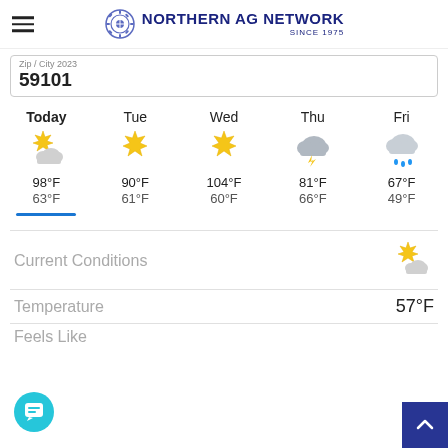NORTHERN AG NETWORK SINCE 1975
59101
| Today | Tue | Wed | Thu | Fri |
| --- | --- | --- | --- | --- |
| partly-cloudy-sun | sunny | sunny | thunderstorm | rain |
| 98°F | 90°F | 104°F | 81°F | 67°F |
| 63°F | 61°F | 60°F | 66°F | 49°F |
Current Conditions
Temperature 57°F
Feels Like